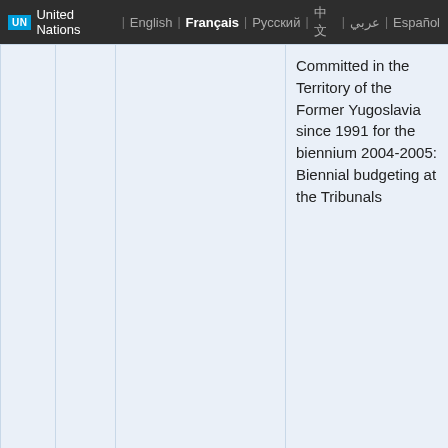UN United Nations | English | Français | Русский | 中文 | عربي | Español
|  | No. | Document | Title |
| --- | --- | --- | --- |
|  |  |  | Committed in the Territory of the Former Yugoslavia since 1991 for the biennium 2004-2005: Biennial budgeting at the Tribunals |
|  | 44. | A/58/449 | Financing of the International Tribunal for the Prosecution of Persons Responsible for Serious Violations of International Humanitarian Law Committed in the Territory of the Former Yugoslavia (ITY) since 1991 for the biennium 2004- |